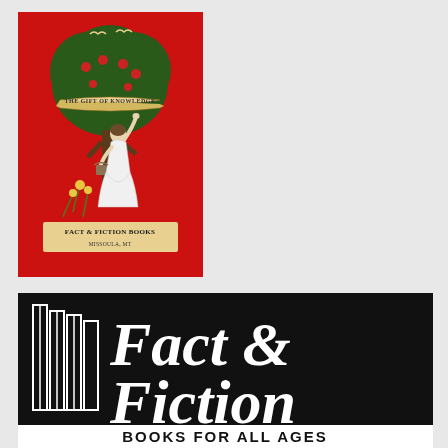[Figure (logo): Fact & Fiction Books logo: red background with illustration of a woman in white dress reaching up to an apple tree, banner reading 'THE GIFT OF KNOWLEDGE', text 'FACT & FICTION BOOKS' at bottom]
[Figure (logo): Fact & Fiction Books logo: black background with white stylized book spine graphic on left, large serif text reading 'Fact & Fiction' and subtitle 'BOOKS FOR ALL AGES' in white]